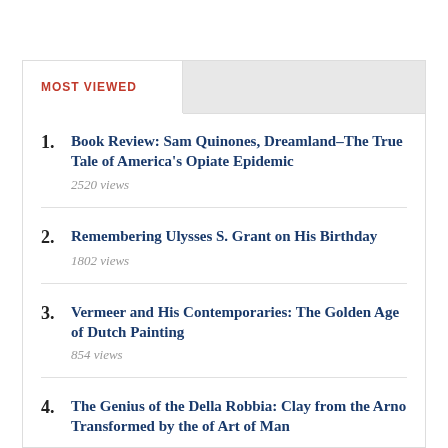MOST VIEWED
1. Book Review: Sam Quinones, Dreamland–The True Tale of America's Opiate Epidemic
2520 views
2. Remembering Ulysses S. Grant on His Birthday
1802 views
3. Vermeer and His Contemporaries: The Golden Age of Dutch Painting
854 views
4. The Genius of the Della Robbia: Clay from the Arno Transformed by the of Art of Man